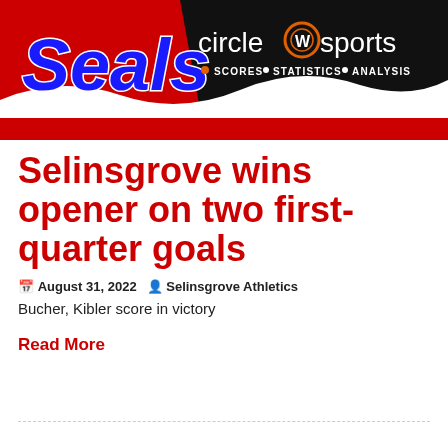[Figure (logo): Seals team logo banner with Circle W Sports branding showing 'SCORES · STATISTICS · ANALYSIS' tagline on red, black and white background]
Selinsgrove wins opener on two first-quarter goals
August 31, 2022  Selinsgrove Athletics
Bucher, Kibler score in victory
Read More